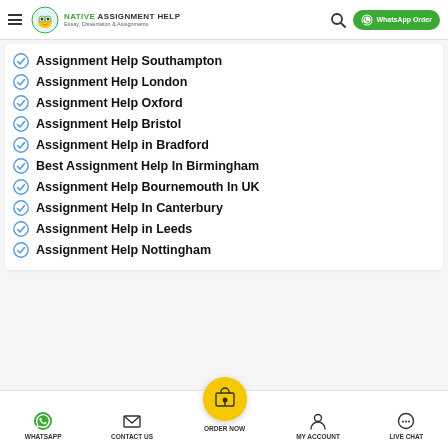NATIVE ASSIGNMENT HELP – Essay, Dissertation & Assignments | WhatsApp Order
Assignment Help Southampton
Assignment Help London
Assignment Help Oxford
Assignment Help Bristol
Assignment Help in Bradford
Best Assignment Help In Birmingham
Assignment Help Bournemouth In UK
Assignment Help In Canterbury
Assignment Help in Leeds
Assignment Help Nottingham
WHATSAPP | CONTACT US | ORDER NOW | MY ACCOUNT | LIVE CHAT